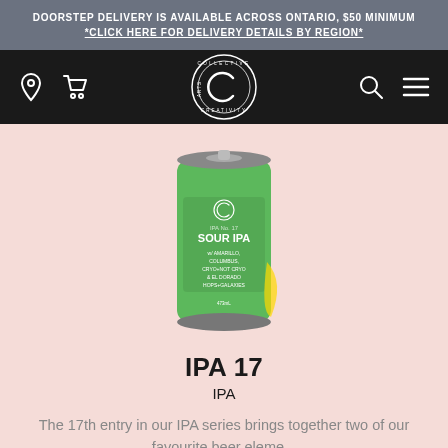DOORSTEP DELIVERY IS AVAILABLE ACROSS ONTARIO, $50 MINIMUM *CLICK HERE FOR DELIVERY DETAILS BY REGION*
[Figure (screenshot): Navigation bar with Collective Arts Brewing logo in center, location and cart icons on left, search and menu icons on right, on black background]
[Figure (photo): Green Collective Arts IPA 17 Sour IPA beer can on pink background]
IPA 17
IPA
The 17th entry in our IPA series brings together two of our favourite beer eleme...